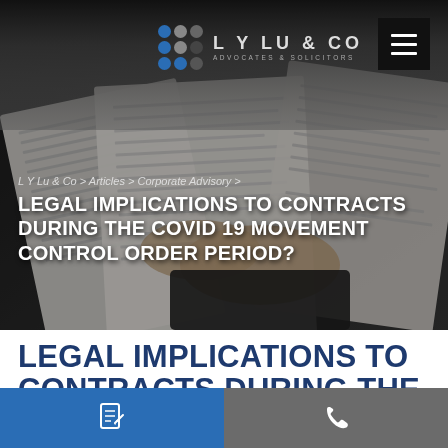[Figure (photo): Hero image showing hands holding documents/papers against a dark background, representing legal contracts]
LY LU & CO — Advocates & Solicitors
LY Lu & Co > Articles > Corporate Advisory >
LEGAL IMPLICATIONS TO CONTRACTS DURING THE COVID 19 MOVEMENT CONTROL ORDER PERIOD?
LEGAL IMPLICATIONS TO CONTRACTS DURING THE